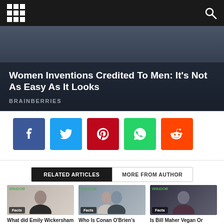Navigation bar with grid menu icon and search icon
Women Inventions Credited To Men: It's Not As Easy As It Looks
BRAINBERRIES
[Figure (infographic): Social share buttons: Facebook, Twitter, Pinterest, WhatsApp, Reddit]
RELATED ARTICLES | MORE FROM AUTHOR
[Figure (photo): What did Emily Wickersham do before - Facts article thumbnail with WikiDOB watermark]
[Figure (photo): Who Is Conan O'Brien's Wife Liza Powel O'Brien? - Facts article thumbnail with WikiDOB watermark]
[Figure (photo): Is Bill Maher Vegan Or Vegetarian? [Upated!] - Facts article thumbnail with WikiDOB watermark]
What did Emily Wickersham do before
Who Is Conan O'Brien's Wife Liza Powel O'Brien?
Is Bill Maher Vegan Or Vegetarian? [Upated!]